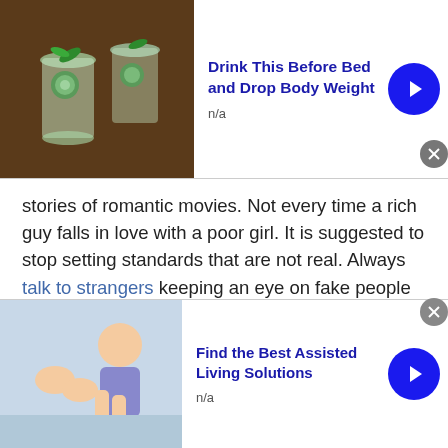[Figure (other): Advertisement banner at top: image of cucumber water/drinks, with title 'Drink This Before Bed and Drop Body Weight', n/a label, blue arrow button, and X close button]
stories of romantic movies. Not every time a rich guy falls in love with a poor girl. It is suggested to stop setting standards that are not real. Always talk to strangers keeping an eye on fake people and engage with someone that keeps you happy and satisfied.
Don't rush in things when Romanian Finding Love
When you meet someone or once you start talking to strangers online, it is wise to pay genuine attention to
[Figure (other): Advertisement banner at bottom: image of elderly care/assisted living, with title 'Find the Best Assisted Living Solutions', n/a label, blue arrow button, and X close button]